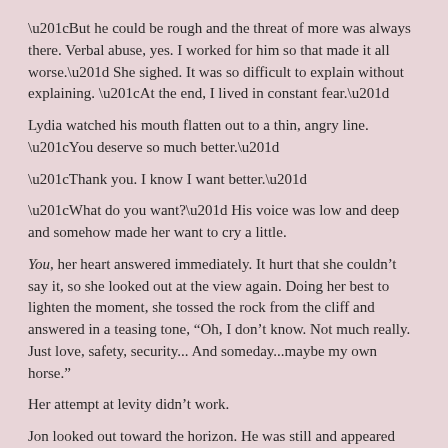“But he could be rough and the threat of more was always there. Verbal abuse, yes. I worked for him so that made it all worse.” She sighed. It was so difficult to explain without explaining. “At the end, I lived in constant fear.”
Lydia watched his mouth flatten out to a thin, angry line. “You deserve so much better.”
“Thank you. I know I want better.”
“What do you want?” His voice was low and deep and somehow made her want to cry a little.
You, her heart answered immediately. It hurt that she couldn’t say it, so she looked out at the view again. Doing her best to lighten the moment, she tossed the rock from the cliff and answered in a teasing tone, “Oh, I don’t know. Not much really. Just love, safety, security... And someday...maybe my own horse.”
Her attempt at levity didn’t work.
Jon looked out toward the horizon. He was still and appeared calm.